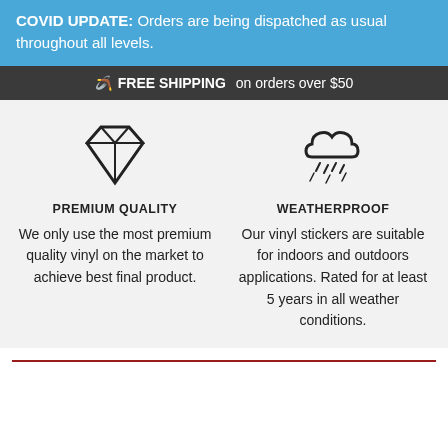COVID UPDATE: Orders are being dispatched as usual throughout all levels.
🪃 FREE SHIPPING on orders over $50
[Figure (illustration): Diamond gem icon (premium quality symbol)]
[Figure (illustration): Rain cloud / weatherproof icon]
PREMIUM QUALITY
WEATHERPROOF
We only use the most premium quality vinyl on the market to achieve best final product.
Our vinyl stickers are suitable for indoors and outdoors applications. Rated for at least 5 years in all weather conditions.